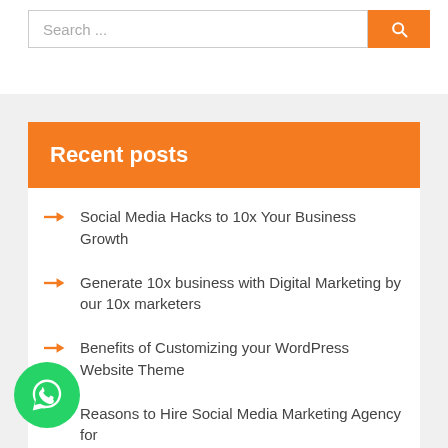[Figure (screenshot): Search bar with text placeholder 'Search ...' and an orange search button with magnifying glass icon]
Recent posts
Social Media Hacks to 10x Your Business Growth
Generate 10x business with Digital Marketing by our 10x marketers
Benefits of Customizing your WordPress Website Theme
Reasons to Hire Social Media Marketing Agency for
[Figure (illustration): WhatsApp contact button (green circle with phone handset icon) positioned at bottom left]